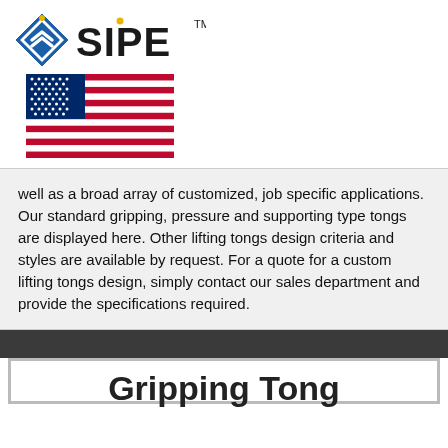[Figure (logo): SIPE company logo with blue diamond/shield icon and bold SIPE text with TM mark]
[Figure (illustration): American flag illustration]
well as a broad array of customized, job specific applications. Our standard gripping, pressure and supporting type tongs are displayed here. Other lifting tongs design criteria and styles are available by request. For a quote for a custom lifting tongs design, simply contact our sales department and provide the specifications required.
Gripping Tong